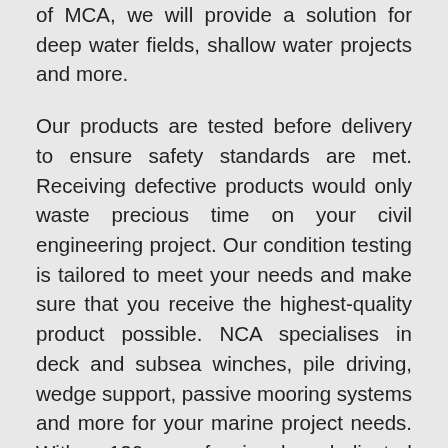of MCA, we will provide a solution for deep water fields, shallow water projects and more. Our products are tested before delivery to ensure safety standards are met. Receiving defective products would only waste precious time on your civil engineering project. Our condition testing is tailored to meet your needs and make sure that you receive the highest-quality product possible. NCA specialises in deck and subsea winches, pile driving, wedge support, passive mooring systems and more for your marine project needs. With 120 professional, dedicated employees, you can rely on products and assistance from MCA Engineering Group to